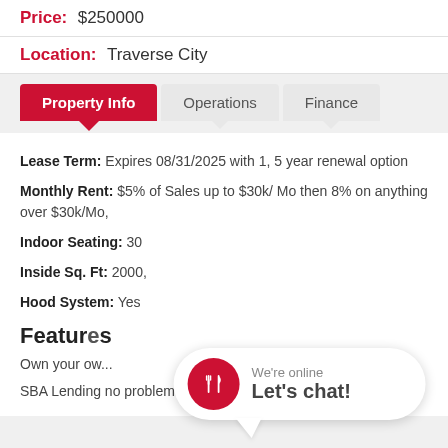Price: $250000
Location: Traverse City
Property Info | Operations | Finance
Lease Term: Expires 08/31/2025 with 1, 5 year renewal option
Monthly Rent: $5% of Sales up to $30k/ Mo then 8% on anything over $30k/Mo,
Indoor Seating: 30
Inside Sq. Ft: 2000,
Hood System: Yes
Features
Own your ow...
SBA Lending no problem with earnings this high
[Figure (other): Live chat widget overlay showing a red circular icon with fork and knife, text 'We're online Let's chat!']